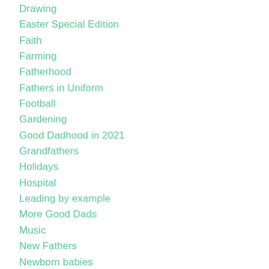Drawing
Easter Special Edition
Faith
Farming
Fatherhood
Fathers in Uniform
Football
Gardening
Good Dadhood in 2021
Grandfathers
Holidays
Hospital
Leading by example
More Good Dads
Music
New Fathers
Newborn babies
Picnics